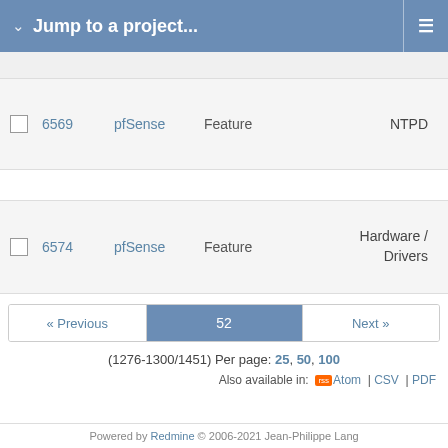Jump to a project...
|  | # | Project | Tracker | Category |
| --- | --- | --- | --- | --- |
|  | 6569 | pfSense | Feature | NTPD |
|  | 6574 | pfSense | Feature | Hardware / Drivers |
« Previous  52  Next »
(1276-1300/1451) Per page: 25, 50, 100
Also available in: Atom | CSV | PDF
Powered by Redmine © 2006-2021 Jean-Philippe Lang